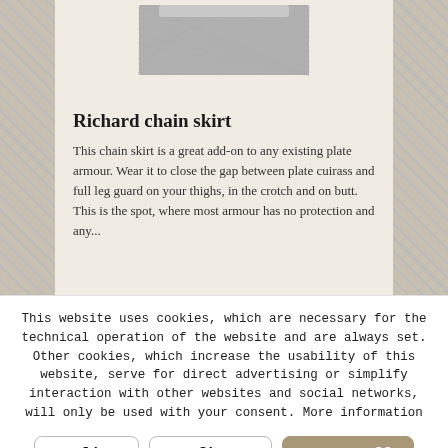[Figure (photo): A chainmail/chain skirt garment shown from the front, grey metallic rings, with a jagged bottom hem against a white background]
Richard chain skirt
This chain skirt is a great add-on to any existing plate armour. Wear it to close the gap between plate cuirass and full leg guard on your thighs, in the crotch and on butt. This is the spot, where most armour has no protection and any...
This website uses cookies, which are necessary for the technical operation of the website and are always set. Other cookies, which increase the usability of this website, serve for direct advertising or simplify interaction with other websites and social networks, will only be used with your consent. More information
Decline
Configure
Accept all